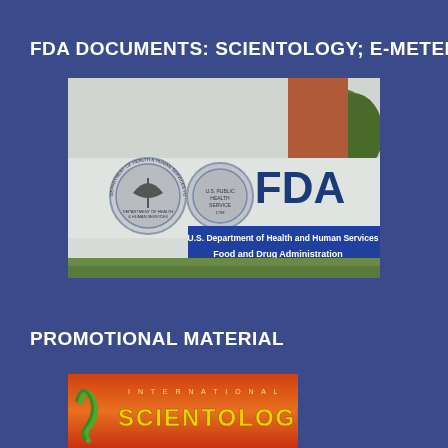FDA DOCUMENTS: SCIENTOLOGY; E-METER
[Figure (photo): Outdoor sign for U.S. Department of Health and Human Services Food and Drug Administration building, showing HHS eagle seal, U.S. Public Health Service seal, and FDA logo on a white and blue sign]
PROMOTIONAL MATERIAL
[Figure (photo): Partial image of Scientology promotional material showing orange/red background with stylized text reading 'SCIENTOLOGIA']